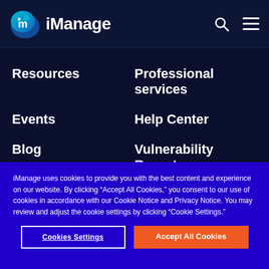[Figure (logo): iManage logo with stylized 'm' icon in blue/teal and white text 'iManage']
Resources
Professional services
Events
Help Center
Blog
Vulnerability Report
iManage uses cookies to provide you with the best content and experience on our website. By clicking “Accept All Cookies,” you consent to our use of cookies in accordance with our Cookie Notice and Privacy Notice. You may review and adjust the cookie settings by clicking “Cookie Settings.”
Cookies Settings
Accept All Cookies